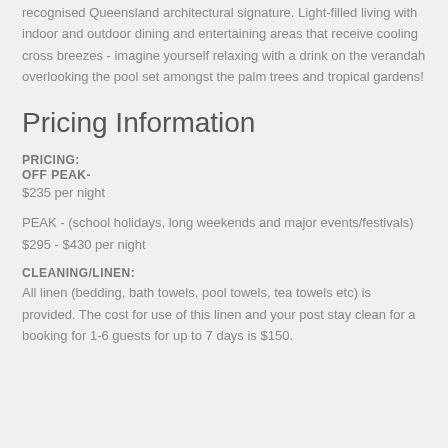recognised Queensland architectural signature. Light-filled living with indoor and outdoor dining and entertaining areas that receive cooling cross breezes - imagine yourself relaxing with a drink on the verandah overlooking the pool set amongst the palm trees and tropical gardens!
Pricing Information
PRICING:
OFF PEAK-
$235 per night
PEAK - (school holidays, long weekends and major events/festivals)
$295 - $430 per night
CLEANING/LINEN:
All linen (bedding, bath towels, pool towels, tea towels etc) is provided. The cost for use of this linen and your post stay clean for a booking for 1-6 guests for up to 7 days is $150.